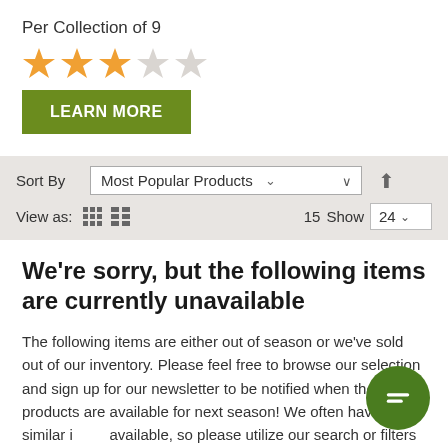Per Collection of 9
[Figure (illustration): Star rating showing 3 out of 5 stars filled (orange) and 2 empty stars]
LEARN MORE
Sort By   Most Popular Products   ↑   View as: [grid] [list]   15   Show  24
We're sorry, but the following items are currently unavailable
The following items are either out of season or we've sold out of our inventory. Please feel free to browse our selection and sign up for our newsletter to be notified when these products are available for next season! We often have similar items available, so please utilize our search or filters (on the left) to explore other options. Or, call us at (877) 309-7333 for help.
[Figure (illustration): Green circular chat bubble icon with equals sign]